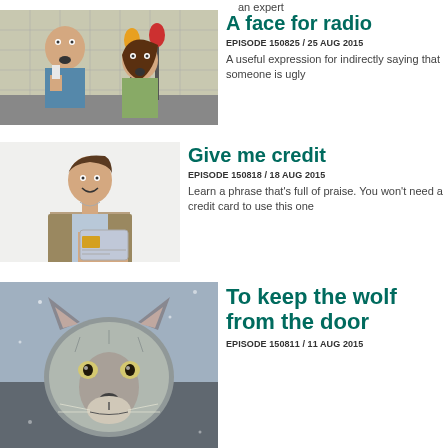an expert
[Figure (photo): Man and woman in a radio studio looking shocked, holding microphones]
A face for radio
EPISODE 150825 / 25 AUG 2015
A useful expression for indirectly saying that someone is ugly
[Figure (photo): Professional woman in suit holding a credit card and smiling]
Give me credit
EPISODE 150818 / 18 AUG 2015
Learn a phrase that's full of praise. You won't need a credit card to use this one
[Figure (photo): Close-up of a wolf with grey fur looking at camera]
To keep the wolf from the door
EPISODE 150811 / 11 AUG 2015